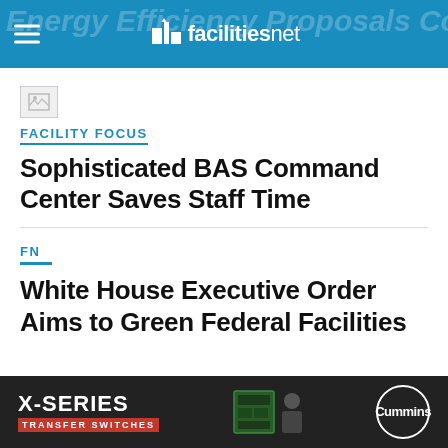facilitiesnet
[Figure (other): Broken/placeholder image thumbnail]
FACILITY FOCUS
Sophisticated BAS Command Center Saves Staff Time
FN
White House Executive Order Aims to Green Federal Facilities
[Figure (other): X-SERIES TRANSFER SWITCHES advertisement banner with Cummins logo]